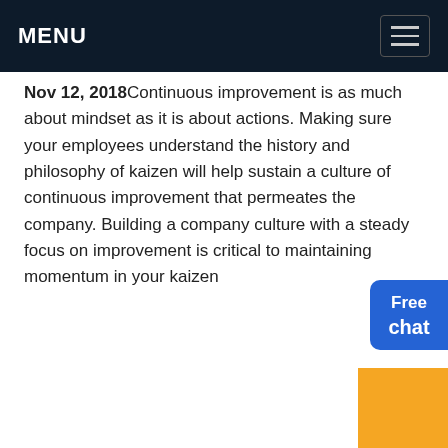MENU
Nov 12, 2018Continuous improvement is as much about mindset as it is about actions. Making sure your employees understand the history and philosophy of kaizen will help sustain a culture of continuous improvement that permeates the company. Building a company culture with a steady focus on improvement is critical to maintaining momentum in your kaizen
Get Price
My airtel project
Aug 23, 201
airtel project 1.